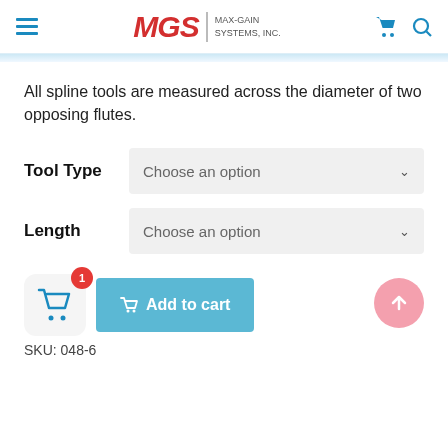MGS MAX-GAIN SYSTEMS, INC.
All spline tools are measured across the diameter of two opposing flutes.
Tool Type  Choose an option
Length  Choose an option
Add to cart
SKU: 048-6